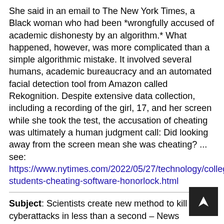She said in an email to The New York Times, a Black woman who had been *wrongfully accused of academic dishonesty by an algorithm.* What happened, however, was more complicated than a simple algorithmic mistake. It involved several humans, academic bureaucracy and an automated facial detection tool from Amazon called Rekognition. Despite extensive data collection, including a recording of the girl, 17, and her screen while she took the test, the accusation of cheating was ultimately a human judgment call: Did looking away from the screen mean she was cheating? ... see: https://www.nytimes.com/2022/05/27/technology/college-students-cheating-software-honorlock.html
Subject: Scientists create new method to kill cyberattacks in less than a second – News
Source: Cardiff University
https://www.cardiff.ac.uk/news/view/2626497-scientists-create-new-method-to-kill-cyberattacks-less-than-a-second